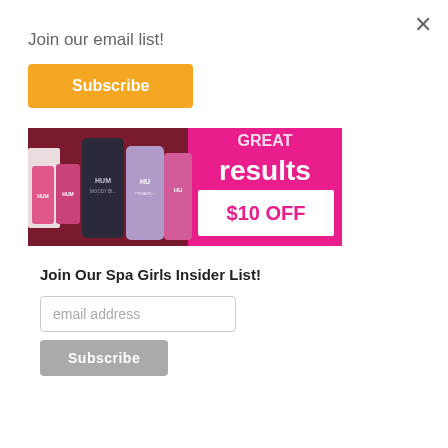Join our email list!
Subscribe
[Figure (photo): Advertisement banner showing HUM nutrition supplement bottles against a dark background on the left, and a bright pink panel on the right with text 'GREAT results' in white and a white box showing '$10 OFF' in pink text.]
Join Our Spa Girls Insider List!
email address
Subscribe